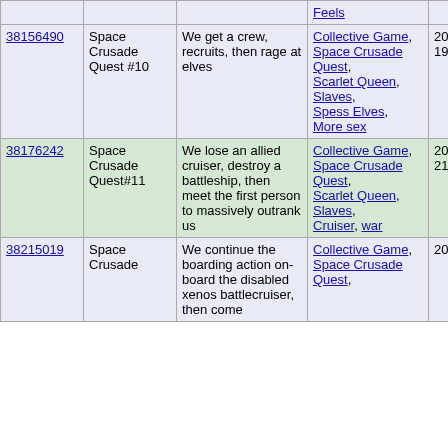| ID | Name | Description | Tags | Date | # |  |
| --- | --- | --- | --- | --- | --- | --- |
| 38156490 | Space Crusade Quest #10 | We get a crew, recruits, then rage at elves | Collective Game, Space Crusade Quest, Scarlet Queen, Slaves, Spess Elves, More sex | 2015-02-19 | 4 | Vote |
| 38176242 | Space Crusade Quest#11 | We lose an allied cruiser, destroy a battleship, then meet the first person to massively outrank us | Collective Game, Space Crusade Quest, Scarlet Queen, Slaves, Cruiser, war | 2015-02-21 | 6 | Vote |
| 38215019 | Space Crusade ... | We continue the boarding action on-board the disabled xenos battlecruiser, then come ... | Collective Game, Space Crusade Quest, | 2015- | 2 | Vote |